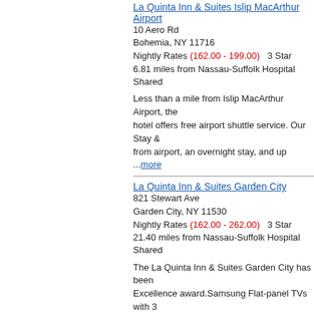La Quinta Inn & Suites Islip MacArthur Airport
10 Aero Rd
Bohemia, NY 11716
Nightly Rates (162.00 - 199.00)   3 Star
6.81 miles from Nassau-Suffolk Hospital Shared
Less than a mile from Islip MacArthur Airport, the hotel offers free airport shuttle service. Our Stay & from airport, an overnight stay, and up ...more
La Quinta Inn & Suites Garden City
821 Stewart Ave
Garden City, NY 11530
Nightly Rates (162.00 - 262.00)   3 Star
21.40 miles from Nassau-Suffolk Hospital Shared
The La Quinta Inn & Suites Garden City has been Excellence award.Samsung Flat-panel TVs with 3 and-Play feature makes it simple to connect electro
Viana Hotel And Spa
3998 Brush Hollow Road
Westbury, NY 11590
Nightly Rates (165.00 - 489.95)   5 Star
18.42 miles from Nassau-Suffolk Hospital Shared
An innovative new hotel in Westbury with a strong state-of-the-art technology. Viana Hotel and Spa is with a superb restaurant and a fabulous spa.Th...m